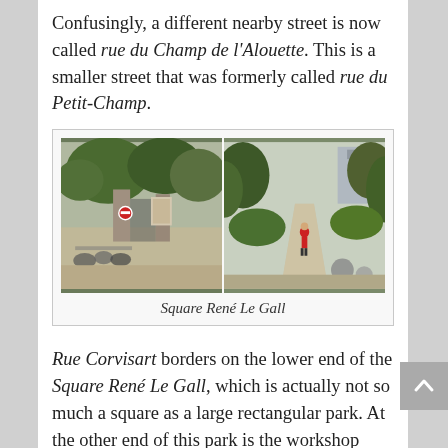Confusingly, a different nearby street is now called rue du Champ de l'Alouette. This is a smaller street that was formerly called rue du Petit-Champ.
[Figure (photo): Two side-by-side photos of Square René Le Gall: left shows the park entrance gate with bicycles parked outside and lush trees; right shows a paved walkway through the park with a person in a red jacket walking, surrounded by greenery and large spherical stones.]
Square René Le Gall
Rue Corvisart borders on the lower end of the Square René Le Gall, which is actually not so much a square as a large rectangular park. At the other end of this park is the workshop building of